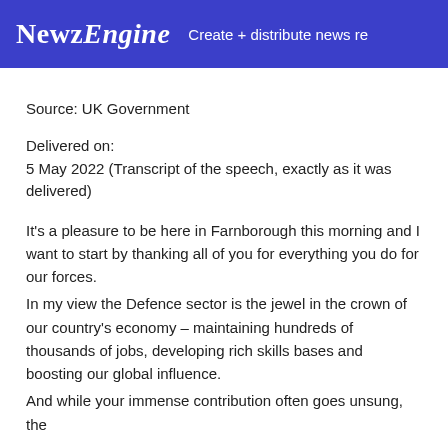NewzEngine Create + distribute news re
Source: UK Government
Delivered on:
5 May 2022 (Transcript of the speech, exactly as it was delivered)
It's a pleasure to be here in Farnborough this morning and I want to start by thanking all of you for everything you do for our forces.
In my view the Defence sector is the jewel in the crown of our country's economy – maintaining hundreds of thousands of jobs, developing rich skills bases and boosting our global influence.
And while your immense contribution often goes unsung, the